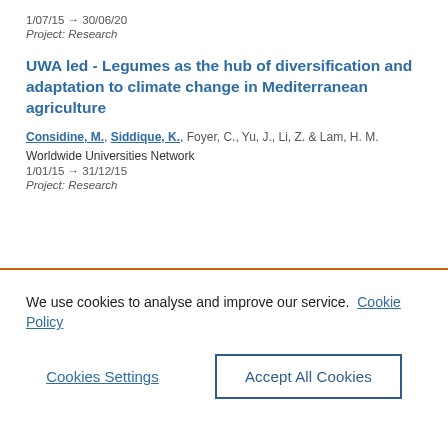1/07/15 → 30/06/20
Project: Research
UWA led - Legumes as the hub of diversification and adaptation to climate change in Mediterranean agriculture
Considine, M., Siddique, K., Foyer, C., Yu, J., Li, Z. & Lam, H. M.
Worldwide Universities Network
1/01/15 → 31/12/15
Project: Research
We use cookies to analyse and improve our service. Cookie Policy
Cookies Settings
Accept All Cookies